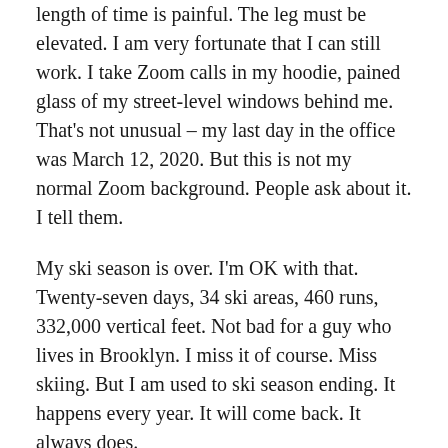length of time is painful. The leg must be elevated. I am very fortunate that I can still work. I take Zoom calls in my hoodie, pained glass of my street-level windows behind me. That's not unusual – my last day in the office was March 12, 2020. But this is not my normal Zoom background. People ask about it. I tell them.
My ski season is over. I'm OK with that. Twenty-seven days, 34 ski areas, 460 runs, 332,000 vertical feet. Not bad for a guy who lives in Brooklyn. I miss it of course. Miss skiing. But I am used to ski season ending. It happens every year. It will come back. It always does.
In the meantime, I have no shortage of things to do. I am not a person who gets bored. I watch very little TV. I have a rich life, two great kids, a wonderful wife. What I do when I have time to do anything is write. I can write all day – I don't get blocks. Usually the issue is time.